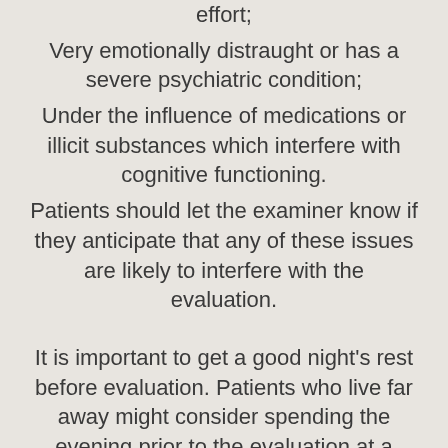effort;
Very emotionally distraught or has a severe psychiatric condition;
Under the influence of medications or illicit substances which interfere with cognitive functioning.
Patients should let the examiner know if they anticipate that any of these issues are likely to interfere with the evaluation.
It is important to get a good night's rest before evaluation. Patients who live far away might consider spending the evening prior to the evaluation at a local hotel or with friends or family